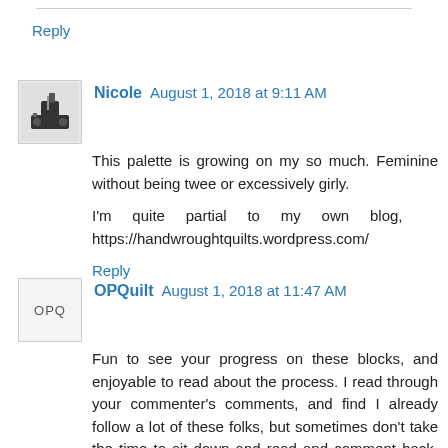Reply
Nicole  August 1, 2018 at 9:11 AM
This palette is growing on my so much. Feminine without being twee or excessively girly.

I'm quite partial to my own blog, https://handwroughtquilts.wordpress.com/
Reply
OPQuilt  August 1, 2018 at 11:47 AM
Fun to see your progress on these blocks, and enjoyable to read about the process. I read through your commenter's comments, and find I already follow a lot of these folks, but sometimes don't take the time to sit down and read and comment back. My blog, opquilt.com, still serves as my place to share my work, to write, to explore and to whine